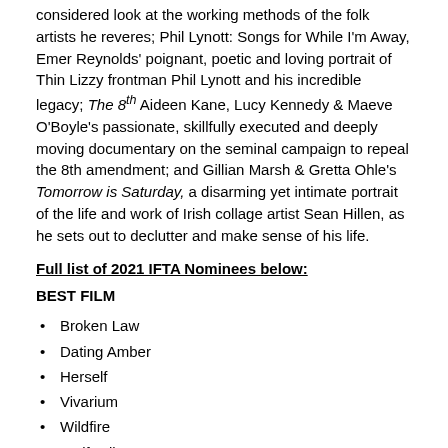considered look at the working methods of the folk artists he reveres; Phil Lynott: Songs for While I'm Away, Emer Reynolds' poignant, poetic and loving portrait of Thin Lizzy frontman Phil Lynott and his incredible legacy; The 8th Aideen Kane, Lucy Kennedy & Maeve O'Boyle's passionate, skillfully executed and deeply moving documentary on the seminal campaign to repeal the 8th amendment; and Gillian Marsh & Gretta Ohle's Tomorrow is Saturday, a disarming yet intimate portrait of the life and work of Irish collage artist Sean Hillen, as he sets out to declutter and make sense of his life.
Full list of 2021 IFTA Nominees below:
BEST FILM
Broken Law
Dating Amber
Herself
Vivarium
Wildfire
Wolfwalkers